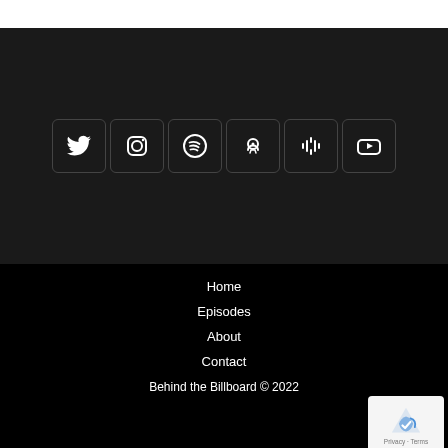[Figure (infographic): Social media icons row: Twitter, Instagram, Spotify, Apple Podcasts, Google Podcasts, YouTube — white icons on dark rounded square backgrounds]
Home
Episodes
About
Contact
Behind the Billboard © 2022